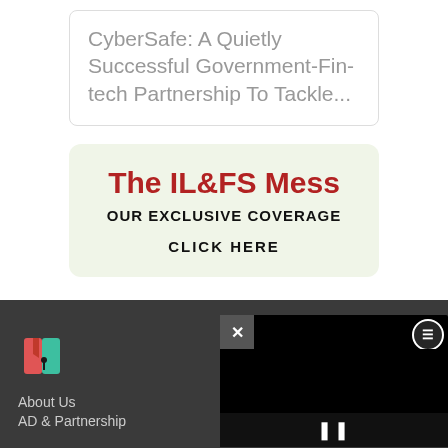CyberSafe: A Quietly Successful Government-Fin-tech Partnership To Tackle...
[Figure (infographic): Promotional box with light green background advertising 'The IL&FS Mess - Our Exclusive Coverage - Click Here']
[Figure (screenshot): Website footer with dark grey background showing a book/publication logo, About Us and AD & Partnership links, and a black video player overlay with close button, settings button, progress bar and pause controls]